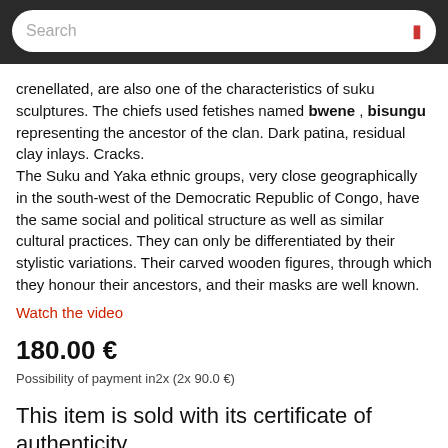Search
crenellated, are also one of the characteristics of suku sculptures. The chiefs used fetishes named bwene , bisungu representing the ancestor of the clan. Dark patina, residual clay inlays. Cracks.
The Suku and Yaka ethnic groups, very close geographically in the south-west of the Democratic Republic of Congo, have the same social and political structure as well as similar cultural practices. They can only be differentiated by their stylistic variations. Their carved wooden figures, through which they honour their ancestors, and their masks are well known.
Watch the video
180.00 €
Possibility of payment in2x (2x 90.0 €)
This item is sold with its certificate of authenticity
Estimated shipping cost